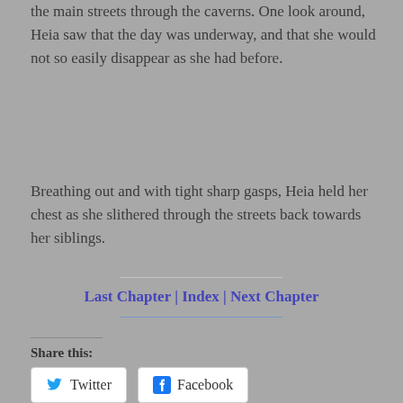the main streets through the caverns. One look around, Heia saw that the day was underway, and that she would not so easily disappear as she had before.
Breathing out and with tight sharp gasps, Heia held her chest as she slithered through the streets back towards her siblings.
Last Chapter | Index | Next Chapter
Share this:
Twitter
Facebook